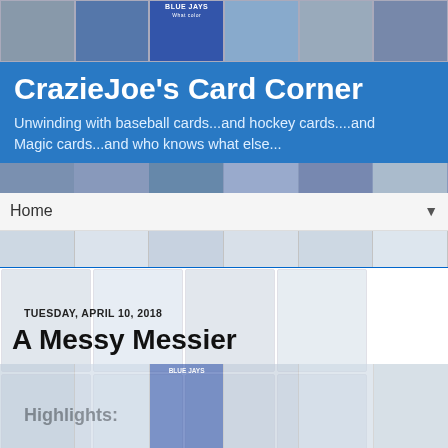[Figure (photo): Header strip of sports trading cards including baseball and hockey cards]
CrazieJoe's Card Corner
Unwinding with baseball cards...and hockey cards....and Magic cards...and who knows what else...
[Figure (photo): Second strip of sports trading cards]
Home
TUESDAY, APRIL 10, 2018
A Messy Messier
Highlights:
[Figure (photo): Background grid of baseball and hockey trading cards faded behind blog content]